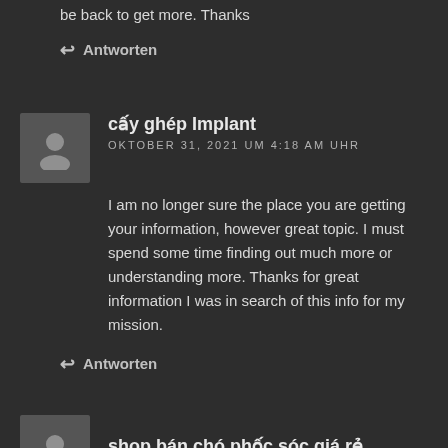be back to get more. Thanks
↩ Antworten
cấy ghép Implant
OKTOBER 31, 2021 UM 4:18 AM UHR
I am no longer sure the place you are getting your information, however great topic. I must spend some time finding out much more or understanding more. Thanks for great information I was in search of this info for my mission.
↩ Antworten
shop bán chó phốc sóc giá rẻ